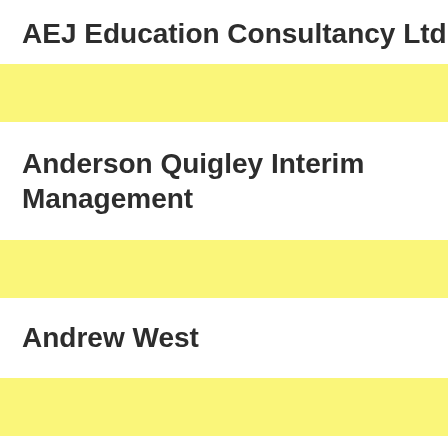AEJ Education Consultancy Ltd
Anderson Quigley Interim Management
Andrew West